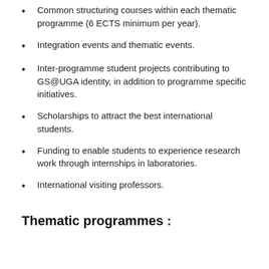Common structuring courses within each thematic programme (6 ECTS minimum per year).
Integration events and thematic events.
Inter-programme student projects contributing to GS@UGA identity, in addition to programme specific initiatives.
Scholarships to attract the best international students.
Funding to enable students to experience research work through internships in laboratories.
International visiting professors.
Thematic programmes :